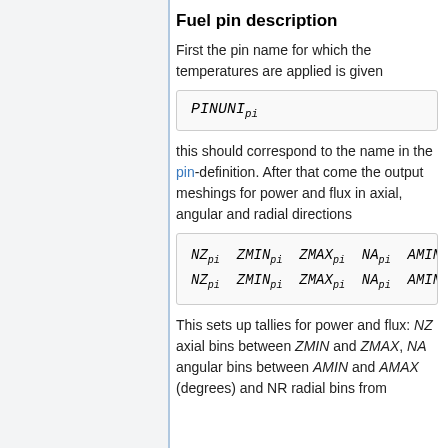Fuel pin description
First the pin name for which the temperatures are applied is given
this should correspond to the name in the pin-definition. After that come the output meshings for power and flux in axial, angular and radial directions
This sets up tallies for power and flux: NZ axial bins between ZMIN and ZMAX, NA angular bins between AMIN and AMAX (degrees) and NR radial bins from...